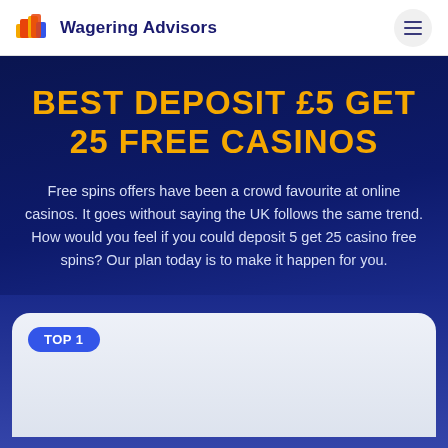Wagering Advisors
BEST DEPOSIT £5 GET 25 FREE CASINOS
Free spins offers have been a crowd favourite at online casinos. It goes without saying the UK follows the same trend. How would you feel if you could deposit 5 get 25 casino free spins? Our plan today is to make it happen for you.
TOP 1